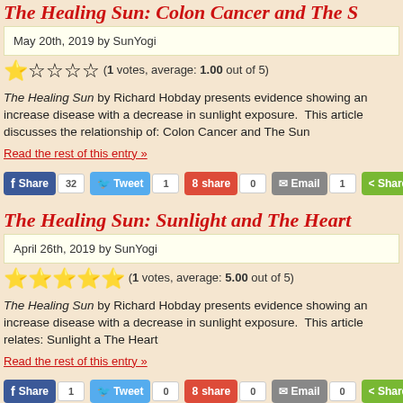The Healing Sun: Colon Cancer and The S...
May 20th, 2019 by SunYogi
(1 votes, average: 1.00 out of 5)
The Healing Sun by Richard Hobday presents evidence showing an increase disease with a decrease in sunlight exposure. This article discusses the relationship of: Colon Cancer and The Sun
Read the rest of this entry »
The Healing Sun: Sunlight and The Heart
April 26th, 2019 by SunYogi
(1 votes, average: 5.00 out of 5)
The Healing Sun by Richard Hobday presents evidence showing an increase disease with a decrease in sunlight exposure. This article relates: Sunlight and The Heart
Read the rest of this entry »